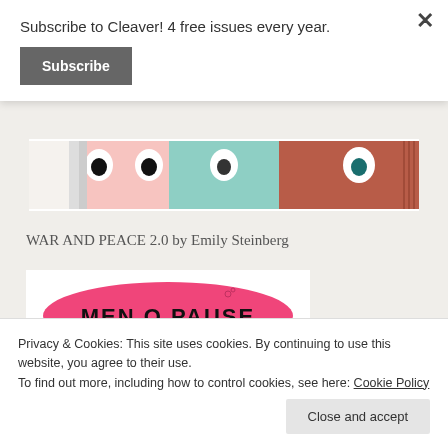Subscribe to Cleaver! 4 free issues every year.
Subscribe
[Figure (illustration): Comic strip panel showing two characters' faces close up, one with pink skin and dark eyes, and one with reddish-brown hair and teal eyes]
WAR AND PEACE 2.0 by Emily Steinberg
[Figure (illustration): Comic panel showing 'MEN O PAUSE' written in pink bubble letters with text below reading 'THE IDEA OF MENOPAUSE, OF BLEEDING']
Privacy & Cookies: This site uses cookies. By continuing to use this website, you agree to their use.
To find out more, including how to control cookies, see here: Cookie Policy
Close and accept